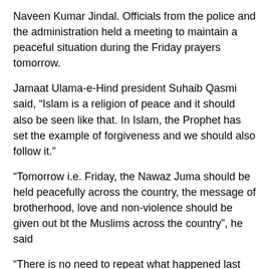Naveen Kumar Jindal. Officials from the police and the administration held a meeting to maintain a peaceful situation during the Friday prayers tomorrow.
Jamaat Ulama-e-Hind president Suhaib Qasmi said, “Islam is a religion of peace and it should also be seen like that. In Islam, the Prophet has set the example of forgiveness and we should also follow it.”
“Tomorrow i.e. Friday, the Nawaz Juma should be held peacefully across the country, the message of brotherhood, love and non-violence should be given out bt the Muslims across the country”, he said
“There is no need to repeat what happened last Friday i.e. June 10, the Muslims of the country, especially the youth, be misled by anyone”, Jamaat Ulama-e-Hind president said.